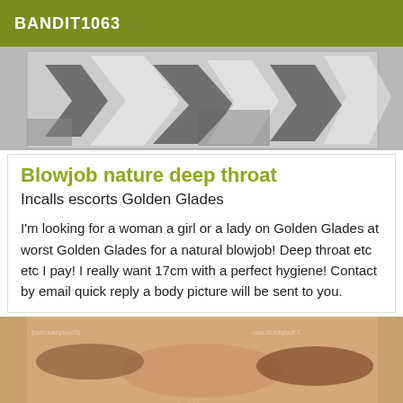BANDIT1063
[Figure (photo): Partially visible photo with black and white zigzag/geometric pattern background]
Blowjob nature deep throat
Incalls escorts Golden Glades
I'm looking for a woman a girl or a lady on Golden Glades at worst Golden Glades for a natural blowjob! Deep throat etc etc I pay! I really want 17cm with a perfect hygiene! Contact by email quick reply a body picture will be sent to you.
[Figure (photo): Photo showing hands on a person's back/shoulders with watermark text overlay]